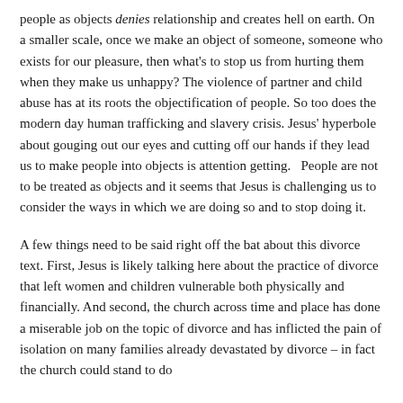people as objects denies relationship and creates hell on earth. On a smaller scale, once we make an object of someone, someone who exists for our pleasure, then what's to stop us from hurting them when they make us unhappy?  The violence of partner and child abuse has at its roots the objectification of people.  So too does the modern day human trafficking and slavery crisis.  Jesus' hyperbole about gouging out our eyes and cutting off our hands if they lead us to make people into objects is attention getting.   People are not to be treated as objects and it seems that Jesus is challenging us to consider the ways in which we are doing so and to stop doing it.
A few things need to be said right off the bat about this divorce text.  First, Jesus is likely talking here about the practice of divorce that left women and children vulnerable both physically and financially.  And second, the church across time and place has done a miserable job on the topic of divorce and has inflicted the pain of isolation on many families already devastated by divorce – in fact the church could stand to do